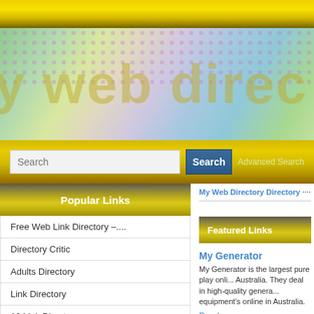[Figure (screenshot): Website header banner with yellow gradient top bar, colorful iridescent banner area with 'my web dire...' text visible, and yellow search bar with input field, Search button, and Advanced Search link]
Popular Links
Free Web Link Directory –....
Directory Critic
Adults Directory
Link Directory
10 Link Directory
Corp Directory
My Web Directory Directory ····» Busine...
Featured Links
My Generator
My Generator is the largest pure play onli... Australia. They deal in high-quality genera... equipment's online in Australia.
Read more